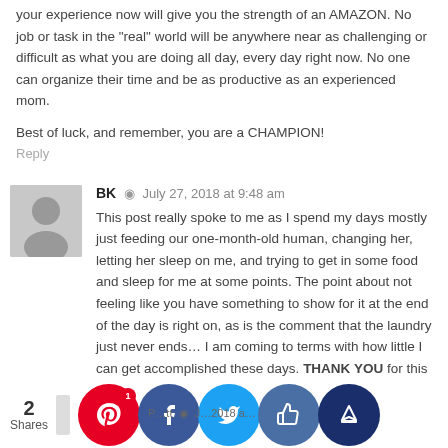your experience now will give you the strength of an AMAZON. No job or task in the "real" world will be anywhere near as challenging or difficult as what you are doing all day, every day right now. No one can organize their time and be as productive as an experienced mom.
Best of luck, and remember, you are a CHAMPION!
Reply
BK · July 27, 2018 at 9:48 am
This post really spoke to me as I spend my days mostly just feeding our one-month-old human, changing her, letting her sleep on me, and trying to get in some food and sleep for me at some points. The point about not feeling like you have something to show for it at the end of the day is right on, as is the comment that the laundry just never ends... I am coming to terms with how little I can get accomplished these days. THANK YOU for this post!
Reply
2 Shares